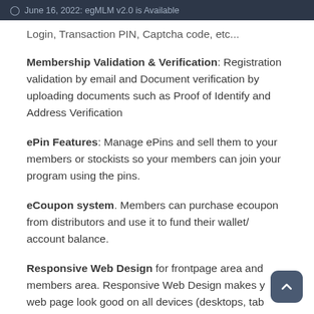June 16, 2022: egMLM v2.0 is Available
Login, Transaction PIN, Captcha code, etc...
Membership Validation & Verification: Registration validation by email and Document verification by uploading documents such as Proof of Identify and Address Verification
ePin Features: Manage ePins and sell them to your members or stockists so your members can join your program using the pins.
eCoupon system. Members can purchase ecoupon from distributors and use it to fund their wallet/account balance.
Responsive Web Design for frontpage area and members area. Responsive Web Design makes your web page look good on all devices (desktops, tab...